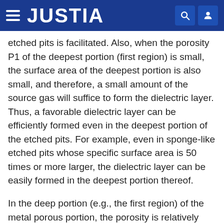JUSTIA
etched pits is facilitated. Also, when the porosity P1 of the deepest portion (first region) is small, the surface area of the deepest portion is also small, and therefore, a small amount of the source gas will suffice to form the dielectric layer. Thus, a favorable dielectric layer can be efficiently formed even in the deepest portion of the etched pits. For example, even in sponge-like etched pits whose specific surface area is 50 times or more larger, the dielectric layer can be easily formed in the deepest portion thereof.
In the deep portion (e.g., the first region) of the metal porous portion, the porosity is relatively small, and the pit diameter (or pore diameter) of the etched pits is relatively small. In other words, a large number of fine pores are present in the deep portion of the metal porous portion, ensuring a considerably large surface